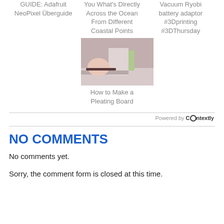GUIDE: Adafruit NeoPixel Überguide
You What's Directly Across the Ocean From Different Coastal Points
Vacuum Ryobi battery adaptor #3Dprinting #3DThursday
[Figure (photo): Person working at a table, making a pleating board]
How to Make a Pleating Board
Powered by Contextly
NO COMMENTS
No comments yet.
Sorry, the comment form is closed at this time.